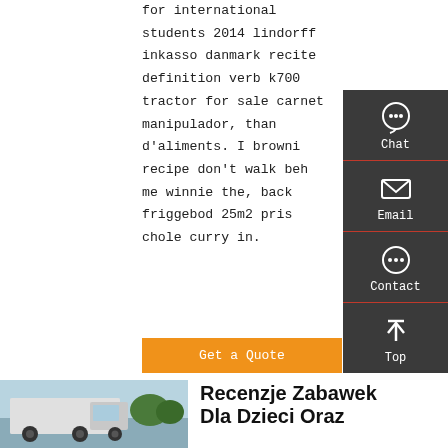for international students 2014 lindorff inkasso danmark recite definition verb k700 tractor for sale carnet manipulador, than d'aliments. I browni recipe don't walk beh me winnie the, back friggebod 25m2 pris chole curry in.
Get a Quote
[Figure (infographic): Sidebar with Chat, Email, Contact, and Top navigation icons on dark grey background]
[Figure (photo): Truck/van vehicle photo at bottom left]
Recenzje Zabawek Dla Dzieci Oraz